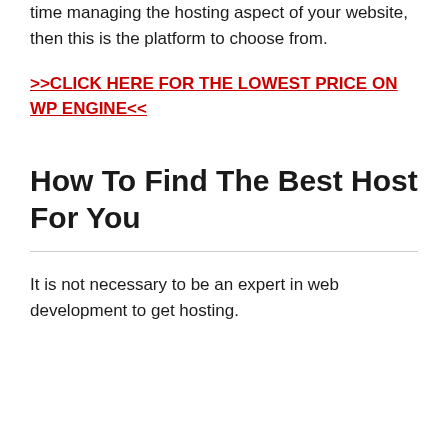time managing the hosting aspect of your website, then this is the platform to choose from.
>>CLICK HERE FOR THE LOWEST PRICE ON WP ENGINE<<
How To Find The Best Host For You
It is not necessary to be an expert in web development to get hosting.